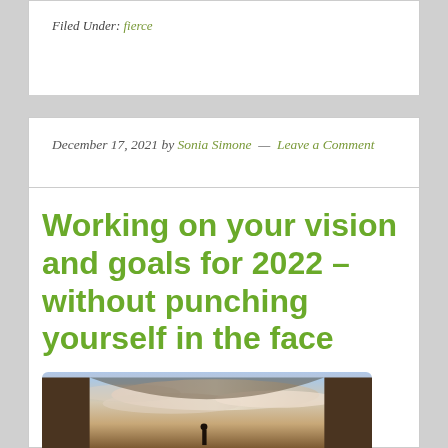Filed Under: fierce
December 17, 2021 by Sonia Simone — Leave a Comment
Working on your vision and goals for 2022 – without punching yourself in the face
[Figure (photo): A person standing in an archway or tunnel looking out at a dramatic sky with clouds and sunlight]